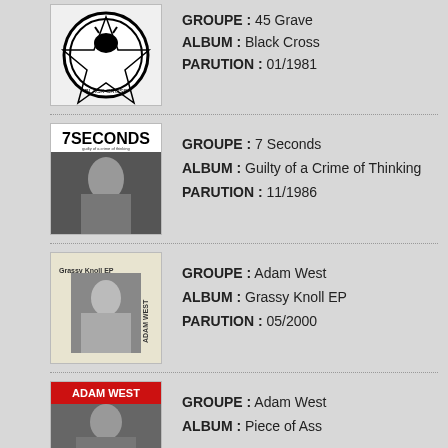[Figure (photo): 45 Grave - Black Cross album cover with pentagram and goat skull]
GROUPE : 45 Grave
ALBUM : Black Cross
PARUTION : 01/1981
[Figure (photo): 7 Seconds - Guilty of a Crime of Thinking album cover with black and white photo of performer]
GROUPE : 7 Seconds
ALBUM : Guilty of a Crime of Thinking
PARUTION : 11/1986
[Figure (photo): Adam West - Grassy Knoll EP album cover]
GROUPE : Adam West
ALBUM : Grassy Knoll EP
PARUTION : 05/2000
[Figure (photo): Adam West - Piece of Ass album cover with red text on top]
GROUPE : Adam West
ALBUM : Piece of Ass